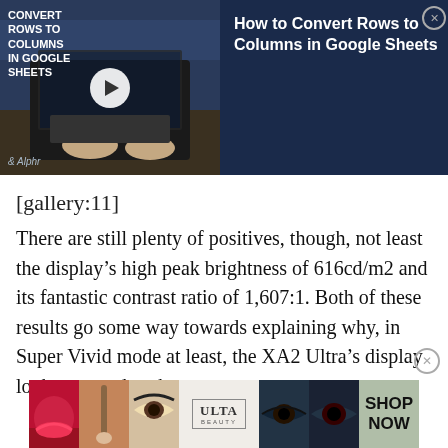[Figure (screenshot): Video banner for 'How to Convert Rows to Columns in Google Sheets' showing a dark navy background with a thumbnail of hands on a laptop keyboard, a play button, and the Alphr logo on the left, and the article title in white text on the right with a close button.]
[gallery:11]
There are still plenty of positives, though, not least the display’s high peak brightness of 616cd/m2 and its fantastic contrast ratio of 1,607:1. Both of these results go some way towards explaining why, in Super Vivid mode at least, the XA2 Ultra’s display looks so good to the eye.
[Figure (illustration): ULTA Beauty advertisement banner showing makeup-related images and a 'SHOP NOW' call to action.]